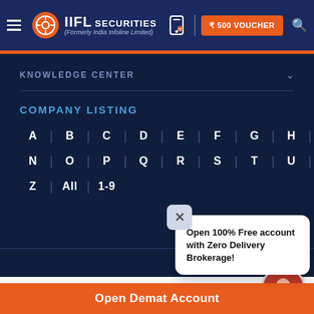[Figure (screenshot): IIFL Securities website header with logo, ₹500 voucher button, and search icon]
KNOWLEDGE CENTER
COMPANY LISTING
A | B | C | D | E | F | G | H | I | J | K | L | M | N | O | P | Q | R | S | T | U | V | W | X | Y | Z | All | 1-9
Open 100% Free account with Zero Delivery Brokerage!
Disclaimer
Disclaimer - Research Disclaimer
Open Demat Account